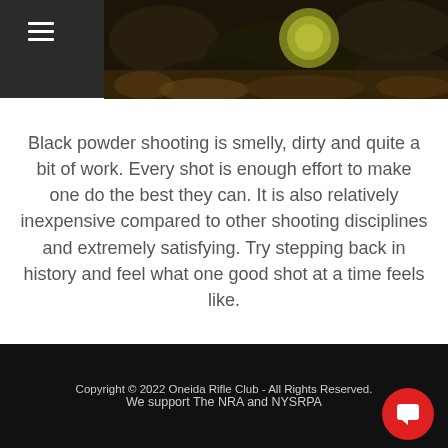[Figure (photo): Dark header image with camouflage pattern and a glowing yellowish circular light element, partially visible]
Black powder shooting is smelly, dirty and quite a bit of work. Every shot is enough effort to make one do the best they can. It is also relatively inexpensive compared to other shooting disciplines and extremely satisfying. Try stepping back in history and feel what one good shot at a time feels like.
Copyright © 2022 Oneida Rifle Club - All Rights Reserved.

We support The NRA and NYSRPA